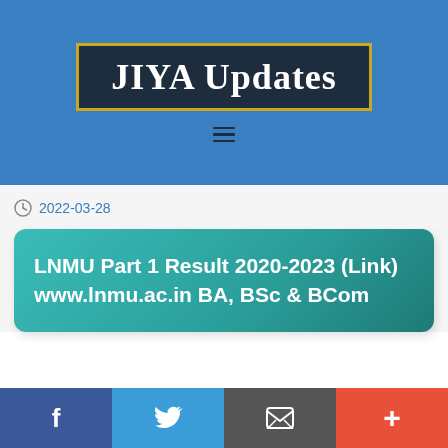JIYA Updates
2022-03-28
LNMU Part 1 Result 2020-2023 (Link) www.lnmu.ac.in BA, BSc & BCom
f  |  Twitter  |  Email  |  +